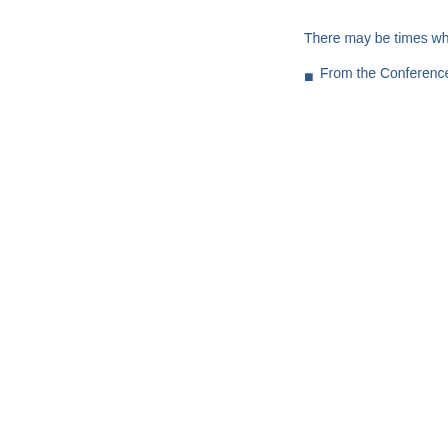There may be times when you want to edit a confere
From the Conference, under the Conference
[Figure (screenshot): A bordered box (double border) partially visible at right edge of page, containing text starting with 'C']